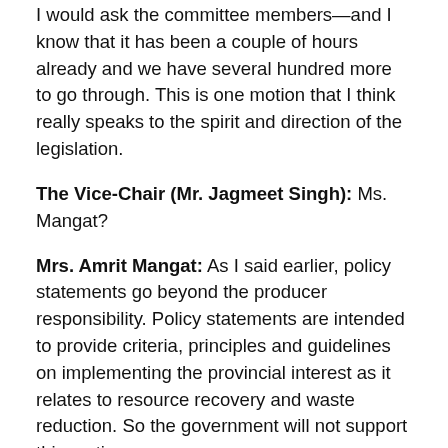I would ask the committee members—and I know that it has been a couple of hours already and we have several hundred more to go through. This is one motion that I think really speaks to the spirit and direction of the legislation.
The Vice-Chair (Mr. Jagmeet Singh): Ms. Mangat?
Mrs. Amrit Mangat: As I said earlier, policy statements go beyond the producer responsibility. Policy statements are intended to provide criteria, principles and guidelines on implementing the provincial interest as it relates to resource recovery and waste reduction. So the government will not support this motion.
The Vice-Chair (Mr. Jagmeet Singh): Any additional debate or discussion? Ms. Thompson.
Ms. Lisa M. Thompson: I'd be remiss if I didn't mention that we all know how well the provincial policy statement has worked across the province. We're very worried that